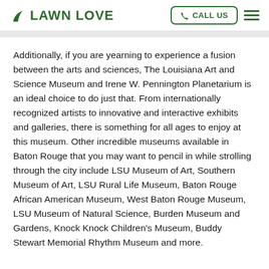LAWN LOVE | CALL US
Additionally, if you are yearning to experience a fusion between the arts and sciences, The Louisiana Art and Science Museum and Irene W. Pennington Planetarium is an ideal choice to do just that. From internationally recognized artists to innovative and interactive exhibits and galleries, there is something for all ages to enjoy at this museum. Other incredible museums available in Baton Rouge that you may want to pencil in while strolling through the city include LSU Museum of Art, Southern Museum of Art, LSU Rural Life Museum, Baton Rouge African American Museum, West Baton Rouge Museum, LSU Museum of Natural Science, Burden Museum and Gardens, Knock Knock Children's Museum, Buddy Stewart Memorial Rhythm Museum and more.